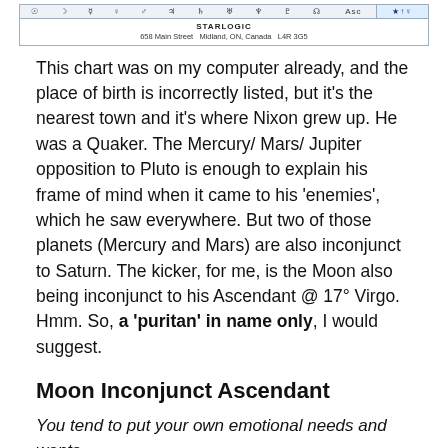[Figure (table-as-image): Astrological chart header row with planetary symbols and a small icon, followed by STARLOGIC address row: 658 Main Street, Midland, ON, Canada, L4R 3G5]
This chart was on my computer already, and the place of birth is incorrectly listed, but it's the nearest town and it's where Nixon grew up. He was a Quaker. The Mercury/ Mars/ Jupiter opposition to Pluto is enough to explain his frame of mind when it came to his 'enemies', which he saw everywhere. But two of those planets (Mercury and Mars) are also inconjunct to Saturn. The kicker, for me, is the Moon also being inconjunct to his Ascendant @ 17° Virgo. Hmm. So, a 'puritan' in name only, I would suggest.
Moon Inconjunct Ascendant
You tend to put your own emotional needs and wants